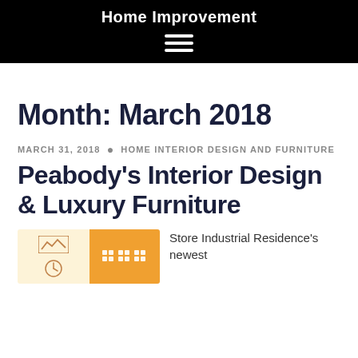Home Improvement
Month: March 2018
MARCH 31, 2018 · HOME INTERIOR DESIGN AND FURNITURE
Peabody's Interior Design & Luxury Furniture
[Figure (illustration): Blog post thumbnail split into two panels: left panel with cream background showing a mountain/landscape icon and a clock icon; right panel with orange background showing grid/table icons]
Store Industrial Residence's newest